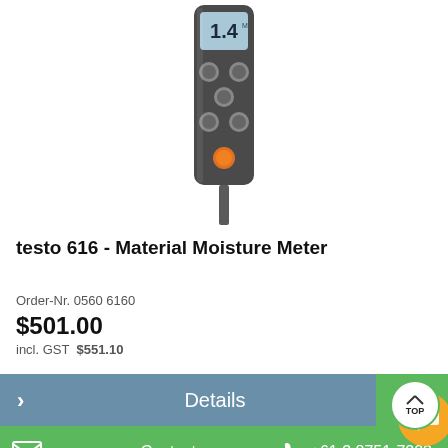[Figure (photo): testo 616 Material Moisture Meter device photo - handheld meter with LCD display showing '1.4', buttons, and orange LED indicator]
testo 616 - Material Moisture Meter
Order-Nr. 0560 6160
$501.00
incl. GST  $551.10
Details
Contact  +61 3 8751-7223